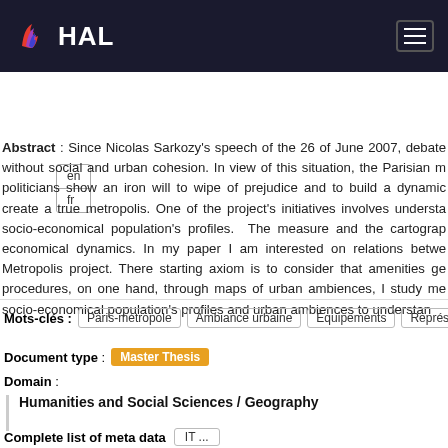HAL
en
fr
Abstract : Since Nicolas Sarkozy's speech of the 26 of June 2007, debate without social and urban cohesion. In view of this situation, the Parisian m politicians show an iron will to wipe of prejudice and to build a dynamic create a true metropolis. One of the project's initiatives involves understa socio-economical population's profiles. The measure and the cartograp economical dynamics. In my paper I am interested on relations betwe Metropolis project. There starting axiom is to consider that amenities ge procedures, on one hand, through maps of urban ambiences, I study me socio-economical population's profiles and urban ambiences to understan
Mots-clés : Paris-métropole  Ambiance urbaine  Équipements  Représent
Document type : Master Thesis
Domain : Humanities and Social Sciences / Geography
Complete list of meta data